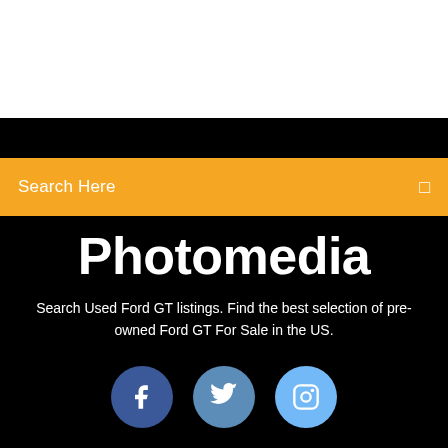Search Here
Photomedia
Search Used Ford GT listings. Find the best selection of pre-owned Ford GT For Sale in the US.
[Figure (infographic): Three social media icon circles: Facebook (dark blue), Twitter (medium blue), Instagram (light blue)]